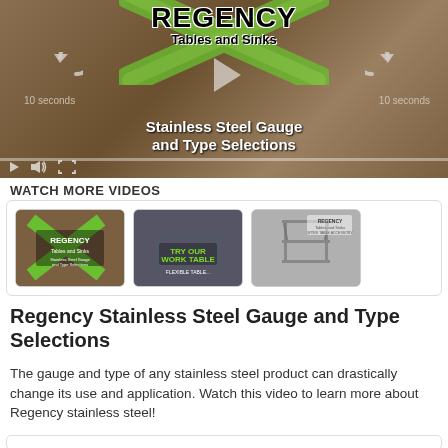[Figure (screenshot): Video player showing Regency Tables and Sinks - Stainless Steel Gauge and Type Selections video with green X logo, rewind controls, play button, and video controls bar at bottom]
WATCH MORE VIDEOS
[Figure (screenshot): Three video thumbnails in a row: first showing Regency Tables and Sinks logo, second showing Try Our Work Table, third showing a stainless steel shelf unit]
Regency Stainless Steel Gauge and Type Selections
The gauge and type of any stainless steel product can drastically change its use and application. Watch this video to learn more about Regency stainless steel!